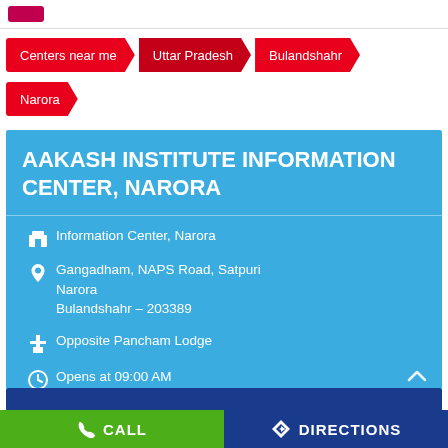[Figure (screenshot): Aakash Institute logo (purple/maroon box) in top bar]
Centers near me
Uttar Pradesh
Bulandshahr
Narora
AAKASH INSTITUTE INFORMATION CENTER, NARORA
Information Center, Narora
Gangadham, NAPS Road, Satpuri Narora
Bulandshahr – 203389
Opposite Pancham Lodge
Opens at 09:00 AM
CALL
DIRECTIONS